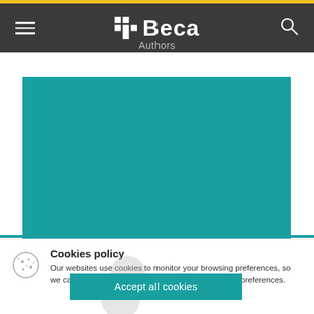Beca — Authors
[Figure (photo): Teal/turquoise colored rectangular image area, content not visible (placeholder)]
Cookies policy
Our websites use cookies to monitor your browsing preferences, so we can show content relevant to you based on these preferences.
Accept all cookies